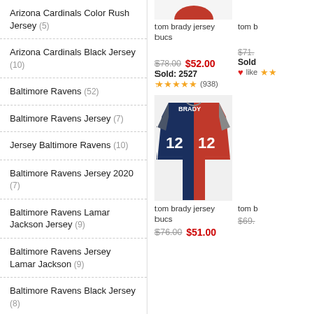Arizona Cardinals Color Rush Jersey (5)
Arizona Cardinals Black Jersey (10)
Baltimore Ravens (52)
Baltimore Ravens Jersey (7)
Jersey Baltimore Ravens (10)
Baltimore Ravens Jersey 2020 (7)
Baltimore Ravens Lamar Jackson Jersey (9)
Baltimore Ravens Jersey Lamar Jackson (9)
Baltimore Ravens Black Jersey (8)
Deion Sanders Baltimore Ravens Jersey (2)
Buffalo Bills (45)
Buffalo Bills Color Rush Jersey (4)
Buffalo Bills Josh Allen Jersey (13)
Buffalo Bills Red Jersey (6)
tom brady jersey bucs
$78.00  $52.00  Sold: 2527  ★★★★★(938)
[Figure (photo): Tom Brady #12 split jersey showing Buccaneers red and Patriots navy colors]
tom brady jersey bucs
$76.00  $51.00